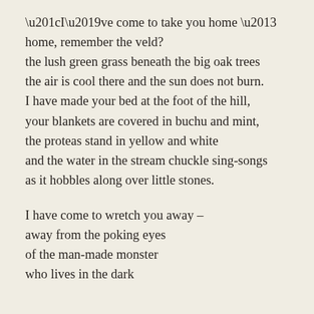“I’ve come to take you home –
home, remember the veld?
the lush green grass beneath the big oak trees
the air is cool there and the sun does not burn.
I have made your bed at the foot of the hill,
your blankets are covered in buchu and mint,
the proteas stand in yellow and white
and the water in the stream chuckle sing-songs
as it hobbles along over little stones.

I have come to wretch you away –
away from the poking eyes
of the man-made monster
who lives in the dark